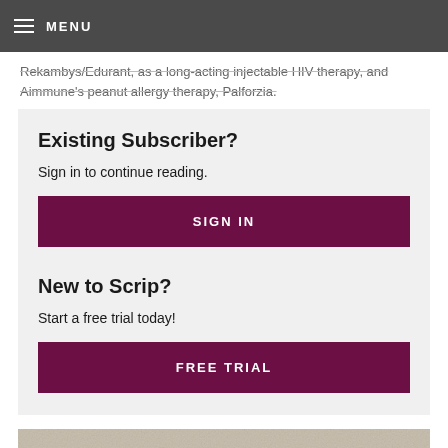MENU
Rekambys/Edurant, as a long-acting injectable HIV therapy, and Aimmune's peanut allergy therapy, Palforzia.
Existing Subscriber?
Sign in to continue reading.
SIGN IN
New to Scrip?
Start a free trial today!
FREE TRIAL
[Figure (photo): Blurred stone or rock texture at bottom of page]